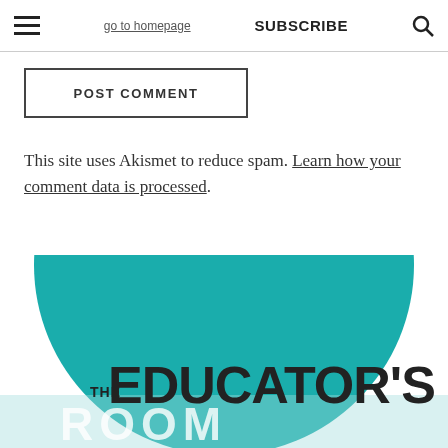go to homepage  SUBSCRIBE
POST COMMENT
This site uses Akismet to reduce spam. Learn how your comment data is processed.
[Figure (logo): The Educator's Room logo — teal semicircle with THE EDUCATOR'S text in dark and ROOM in white below]